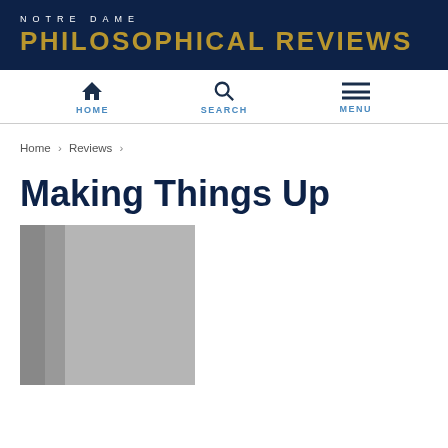NOTRE DAME PHILOSOPHICAL REVIEWS
HOME  SEARCH  MENU
Home › Reviews ›
Making Things Up
[Figure (photo): Book cover image placeholder, gray tones suggesting a book spine and cover]